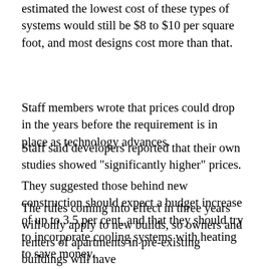estimated the lowest cost of these types of systems would still be $8 to $10 per square foot, and most designs cost more than that.
Staff members wrote that prices could drop in the years before the requirement is in place as technology advances.
They suggested those behind new construction should expect a budget increase of up to 3.5 per cent, and that they should try to incorporate cooling systems with heating to save money.
Staff said developers reported that their own studies showed "significantly higher" prices.
The rules coming into effect in three years will only apply to new builds, so owners and renters of apartments in pre-existing buildings will have